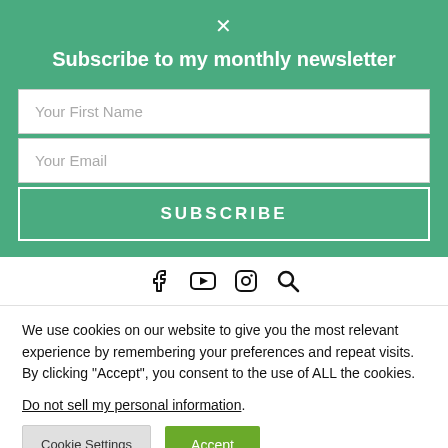Subscribe to my monthly newsletter
[Figure (screenshot): Newsletter signup form with First Name and Email fields and a Subscribe button on a green background]
[Figure (infographic): Social media icons: Facebook, YouTube, Instagram, Search]
We use cookies on our website to give you the most relevant experience by remembering your preferences and repeat visits. By clicking “Accept”, you consent to the use of ALL the cookies.
Do not sell my personal information.
Cookie Settings    Accept